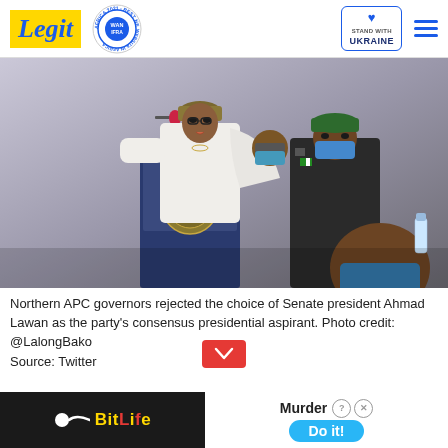Legit — WAN IFRA 2021 Best News Website in Africa — Stand With Ukraine
[Figure (photo): A man in white traditional Nigerian attire and cap speaks at a podium labeled 'Executive Governor Plateau State', flanked by a police officer in green beret and dark uniform wearing a blue face mask, and other officials in background.]
Northern APC governors rejected the choice of Senate president Ahmad Lawan as the party's consensus presidential aspirant. Photo credit: @LalongBako
Source: Twitter
[Figure (infographic): Advertisement banner: BitLife game ad on left with sperm icon and yellow text; Murder game ad on right with 'Do it!' blue button.]